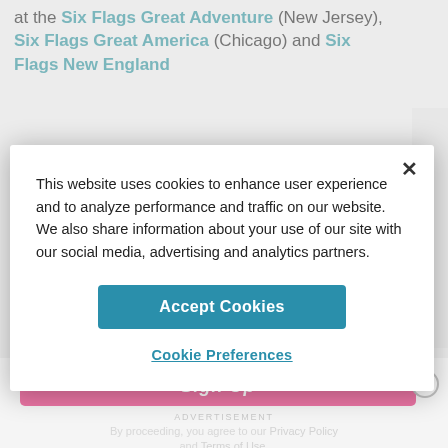at the Six Flags Great Adventure (New Jersey), Six Flags Great America (Chicago) and Six Flags New England
This website uses cookies to enhance user experience and to analyze performance and traffic on our website. We also share information about your use of our site with our social media, advertising and analytics partners.
Accept Cookies
Cookie Preferences
ADVERTISEMENT
By proceeding, you agree to our Privacy Policy and Terms of Use.